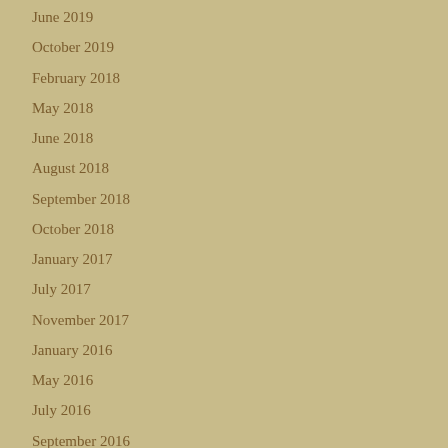June 2019
October 2019
February 2018
May 2018
June 2018
August 2018
September 2018
October 2018
January 2017
July 2017
November 2017
January 2016
May 2016
July 2016
September 2016
November 2016
January 2015
March 2015
April 2015
May 2015
August 2015
September 2015